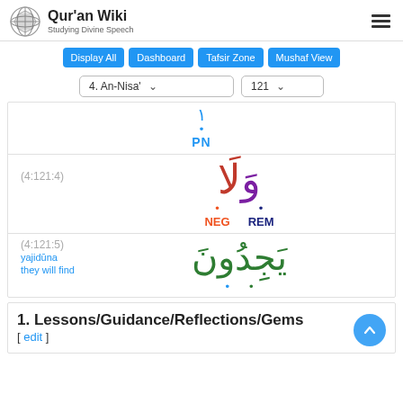Qur'an Wiki — Studying Divine Speech
Display All  Dashboard  Tafsir Zone  Mushaf View
4. An-Nisa'  121
1 • PN
(4:121:4) — NEG  REM
(4:121:5) yajidūna they will find
1. Lessons/Guidance/Reflections/Gems [ edit ]